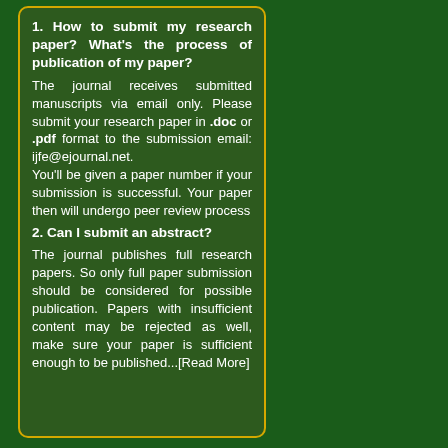1. How to submit my research paper? What's the process of publication of my paper?
The journal receives submitted manuscripts via email only. Please submit your research paper in .doc or .pdf format to the submission email: ijfe@ejournal.net.
You'll be given a paper number if your submission is successful. Your paper then will undergo peer review process
2. Can I submit an abstract?
The journal publishes full research papers. So only full paper submission should be considered for possible publication. Papers with insufficient content may be rejected as well, make sure your paper is sufficient enough to be published...[Read More]